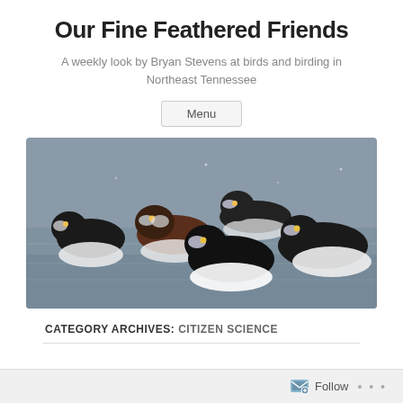Our Fine Feathered Friends
A weekly look by Bryan Stevens at birds and birding in Northeast Tennessee
Menu
[Figure (photo): A group of ducks swimming on a grey water surface. The ducks are mostly black and white with some brown coloring, appearing to be scaup or similar diving duck species.]
CATEGORY ARCHIVES: CITIZEN SCIENCE
Follow ...